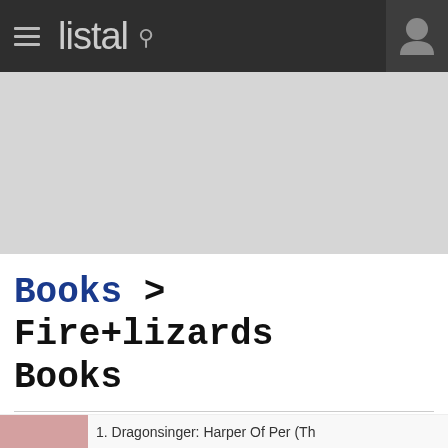listal
[Figure (screenshot): Gray banner/advertisement area]
Books > Fire+lizards Books
Books tagged as 'Fire+lizards' by the Listal community
Sort by: Tag popularity - Top Rated - Top Rated Popular - Wanted - Recently wanted - Date Added
[Figure (other): Partial book thumbnail at bottom, pink/rose color]